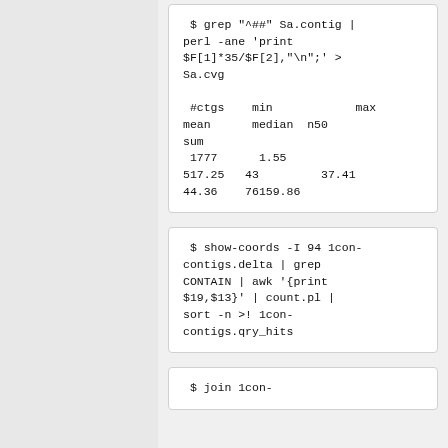$ grep "^##" Sa.contig | perl -ane 'print $F[1]*35/$F[2],"\n";' > Sa.cvg

 #ctgs    min            max    mean     median  n50
sum
 1777      1.55
517.25   43         37.41
44.36    76159.86
$ show-coords -I 94 1con-contigs.delta | grep CONTAIN | awk '{print $19,$13}' | count.pl | sort -n >! 1con-contigs.qry_hits
$ join 1con-